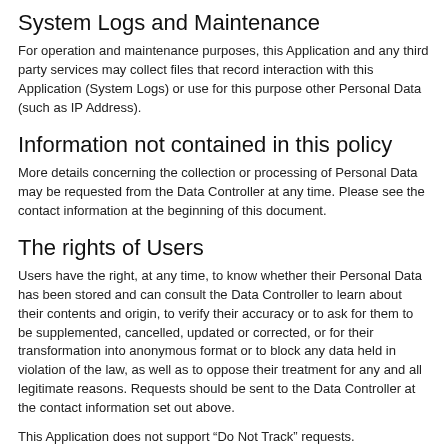System Logs and Maintenance
For operation and maintenance purposes, this Application and any third party services may collect files that record interaction with this Application (System Logs) or use for this purpose other Personal Data (such as IP Address).
Information not contained in this policy
More details concerning the collection or processing of Personal Data may be requested from the Data Controller at any time. Please see the contact information at the beginning of this document.
The rights of Users
Users have the right, at any time, to know whether their Personal Data has been stored and can consult the Data Controller to learn about their contents and origin, to verify their accuracy or to ask for them to be supplemented, cancelled, updated or corrected, or for their transformation into anonymous format or to block any data held in violation of the law, as well as to oppose their treatment for any and all legitimate reasons. Requests should be sent to the Data Controller at the contact information set out above.
This Application does not support “Do Not Track” requests.
To determine whether any of the third party services it uses honor the “Do Not Track” requests, please read their privacy policies.